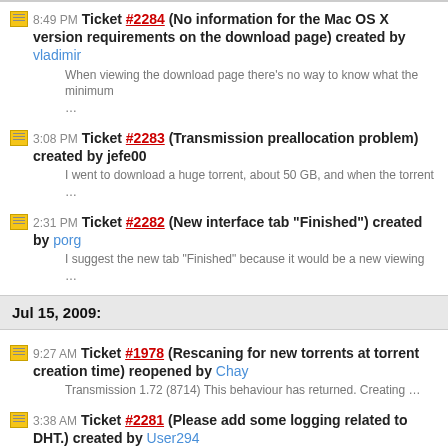8:49 PM Ticket #2284 (No information for the Mac OS X version requirements on the download page) created by vladimir — When viewing the download page there's no way to know what the minimum ...
3:08 PM Ticket #2283 (Transmission preallocation problem) created by jefe00 — I went to download a huge torrent, about 50 GB, and when the torrent ...
2:31 PM Ticket #2282 (New interface tab "Finished") created by porg — I suggest the new tab "Finished" because it would be a new viewing ...
Jul 15, 2009:
9:27 AM Ticket #1978 (Rescaning for new torrents at torrent creation time) reopened by Chay — Transmission 1.72 (8714) This behaviour has returned. Creating ...
3:38 AM Ticket #2281 (Please add some logging related to DHT.) created by User294 — It will be great if at least some logging will be added for DHT ...
3:30 AM Ticket #2280 (manual DHT bootstrapping) created by User294 — In some cases the only way to go is to manually bootstrap DHT by ...
2:34 AM Ticket #2279 (Add DHT status indicator) created by